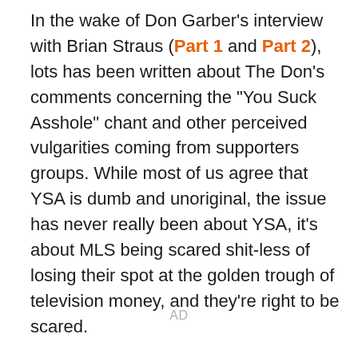In the wake of Don Garber's interview with Brian Straus (Part 1 and Part 2), lots has been written about The Don's comments concerning the "You Suck Asshole" chant and other perceived vulgarities coming from supporters groups. While most of us agree that YSA is dumb and unoriginal, the issue has never really been about YSA, it's about MLS being scared shit-less of losing their spot at the golden trough of television money, and they're right to be scared.
AD